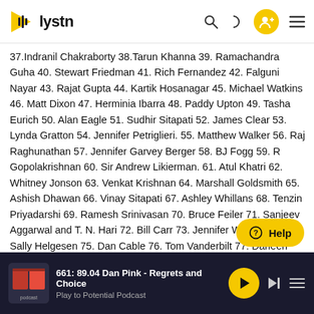lystn
37.Indranil Chakraborty 38.Tarun Khanna 39. Ramachandra Guha 40. Stewart Friedman 41. Rich Fernandez 42. Falguni Nayar 43. Rajat Gupta 44. Kartik Hosanagar 45. Michael Watkins 46. Matt Dixon 47. Herminia Ibarra 48. Paddy Upton 49. Tasha Eurich 50. Alan Eagle 51. Sudhir Sitapati 52. James Clear 53. Lynda Gratton 54. Jennifer Petriglieri. 55. Matthew Walker 56. Raj Raghunathan 57. Jennifer Garvey Berger 58. BJ Fogg 59. R Gopolakrishnan 60. Sir Andrew Likierman. 61. Atul Khatri 62. Whitney Jonson 63. Venkat Krishnan 64. Marshall Goldsmith 65. Ashish Dhawan 66. Vinay Sitapati 67. Ashley Whillans 68. Tenzin Priyadarshi 69. Ramesh Srinivasan 70. Bruce Feiler 71. Sanjeev Aggarwal and T. N. Hari 72. Bill Carr 73. Jennifer Wetzler 74. Sally Helgesen 75. Dan Cable 76. Tom Vanderbilt 77. Darleen DeRosa 78. Amy Edmondson 79. Katy Milkman 80. Harish Bhatt 81. Lloyd Reeb 82. Sukhinder Cassidy 83. Harsh Mariwala 84. Rajiv Vij 85. Dorie Clark 86. Ayse Birsel 87. Ravi Venkatesan 52 88. Pradeep Chakravarthy
661: 89.04 Dan Pink - Regrets and Choice — Play to Potential Podcast